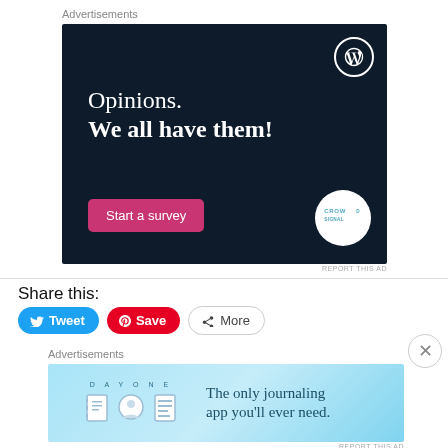Advertisements
[Figure (infographic): WordPress/Crowdsignal advertisement with dark navy background. Shows 'Opinions. We all have them!' headline, a 'Start a survey' pink button, WordPress logo top right, and Crowdsignal circular logo bottom right.]
REPORT THIS AD
Share this:
Tweet
Save
More
Advertisements
[Figure (infographic): Day One journaling app advertisement with light blue gradient background. Shows 'DAY ONE' brand name, three app icons, and text 'The only journaling app you'll ever need.']